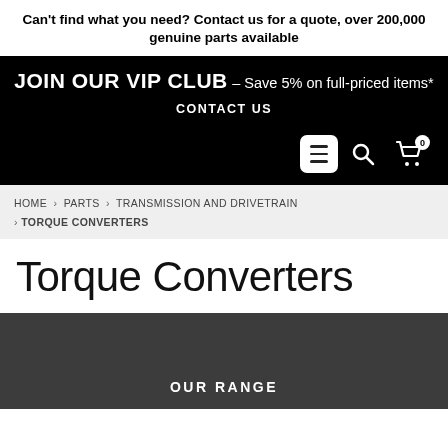Can't find what you need? Contact us for a quote, over 200,000 genuine parts available
JOIN OUR VIP CLUB – Save 5% on full-priced items*
CONTACT US
HOME › PARTS › TRANSMISSION AND DRIVETRAIN › TORQUE CONVERTERS
Torque Converters
OUR RANGE